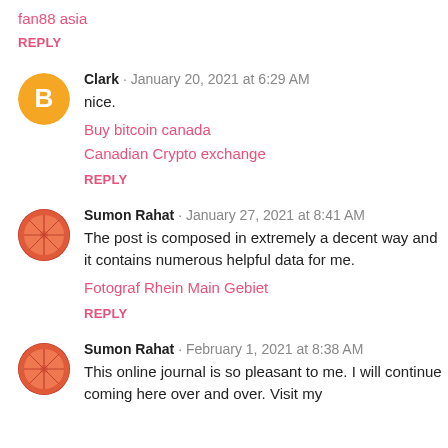fan88 asia
REPLY
Clark · January 20, 2021 at 6:29 AM
nice.
Buy bitcoin canada
Canadian Crypto exchange
REPLY
Sumon Rahat · January 27, 2021 at 8:41 AM
The post is composed in extremely a decent way and it contains numerous helpful data for me.
Fotograf Rhein Main Gebiet
REPLY
Sumon Rahat · February 1, 2021 at 8:38 AM
This online journal is so pleasant to me. I will continue coming here over and over. Visit my